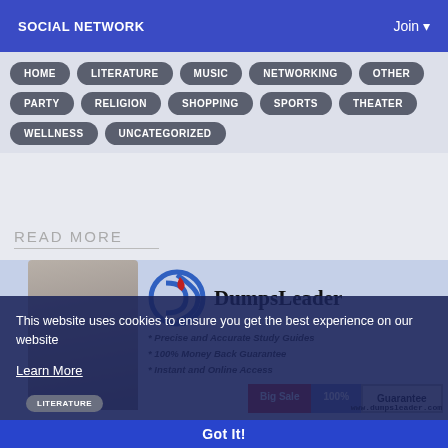SOCIAL NETWORK    Join
HOME
LITERATURE
MUSIC
NETWORKING
OTHER
PARTY
RELIGION
SHOPPING
SPORTS
THEATER
WELLNESS
UNCATEGORIZED
READ MORE
[Figure (screenshot): DumpsLeader advertisement banner with logo showing a D symbol in red and blue, text 'DumpsLeader', bullet points about study guides and money back guarantee, Big Sale / 100% / Guarantee buttons, and a woman with a laptop. Overlaid with a cookie consent dialog saying 'This website uses cookies to ensure you get the best experience on our website' with a Learn More link and Got It button.]